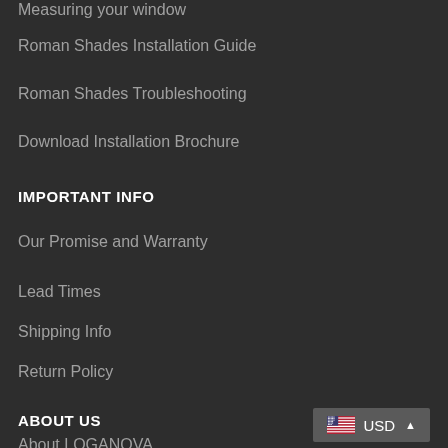Measuring your window
Roman Shades Installation Guide
Roman Shades Troubleshooting
Download Installation Brochure
IMPORTANT INFO
Our Promise and Warranty
Lead Times
Shipping Info
Return Policy
ABOUT US
About LOGANOVA
USD